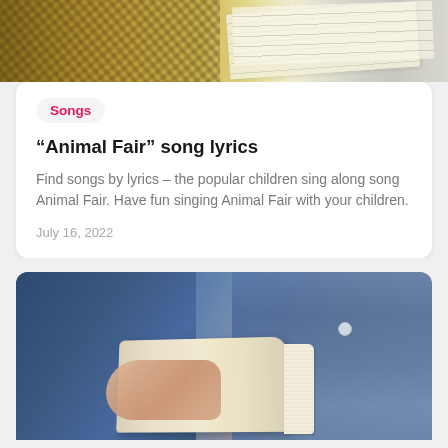[Figure (photo): Top portion of a card showing outdoor scene with a woven straw hat and sheets of paper/music sheets, green grass in background]
Songs
“Animal Fair” song lyrics
Find songs by lyrics – the popular children sing along song Animal Fair. Have fun singing Animal Fair with your children.
July 16, 2022
[Figure (photo): Person sitting in jeans holding an open book, wearing a denim jacket, reading]